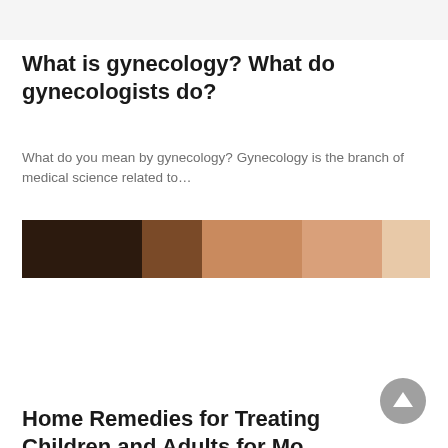[Figure (photo): Light gray/white banner header area at top of page]
What is gynecology? What do gynecologists do?
What do you mean by gynecology? Gynecology is the branch of medical science related to…
[Figure (photo): Partial close-up photo of a person's face, showing forehead and hair, warm skin tones against a light background]
Home Remedies for Treating Children and Adults for Mo... Viral Ev...